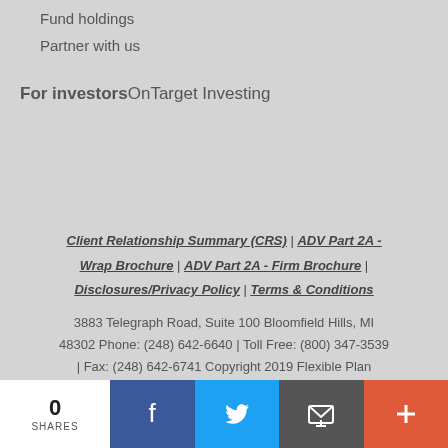Fund holdings
Partner with us
For investors OnTarget Investing
Client Relationship Summary (CRS) | ADV Part 2A - Wrap Brochure | ADV Part 2A - Firm Brochure | Disclosures/Privacy Policy | Terms & Conditions
3883 Telegraph Road, Suite 100 Bloomfield Hills, MI 48302 Phone: (248) 642-6640 | Toll Free: (800) 347-3539 | Fax: (248) 642-6741 Copyright 2019 Flexible Plan
0 SHARES | Facebook | Twitter | Email | More